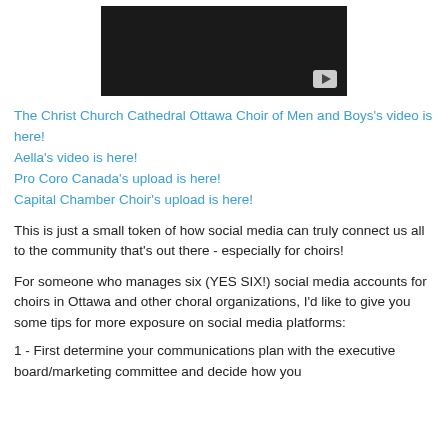[Figure (screenshot): Black video thumbnail with a play button in the bottom right corner]
The Christ Church Cathedral Ottawa Choir of Men and Boys's video is here!
Aella's video is here!
Pro Coro Canada's upload is here!
Capital Chamber Choir's upload is here!
This is just a small token of how social media can truly connect us all to the community that's out there - especially for choirs!
For someone who manages six (YES SIX!) social media accounts for choirs in Ottawa and other choral organizations, I'd like to give you some tips for more exposure on social media platforms:
1 - First determine your communications plan with the executive board/marketing committee and decide how you